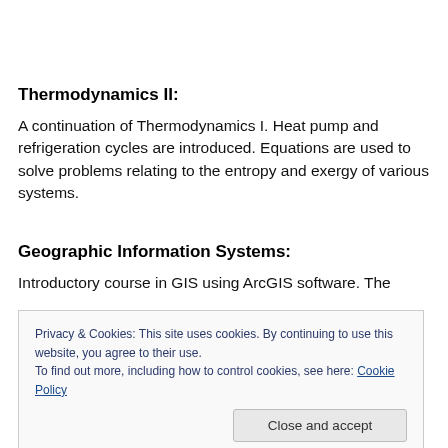Thermodynamics II:
A continuation of Thermodynamics I. Heat pump and refrigeration cycles are introduced. Equations are used to solve problems relating to the entropy and exergy of various systems.
Geographic Information Systems:
Introductory course in GIS using ArcGIS software. The
Privacy & Cookies: This site uses cookies. By continuing to use this website, you agree to their use.
To find out more, including how to control cookies, see here: Cookie Policy
Advanced course in renewable energy applications and